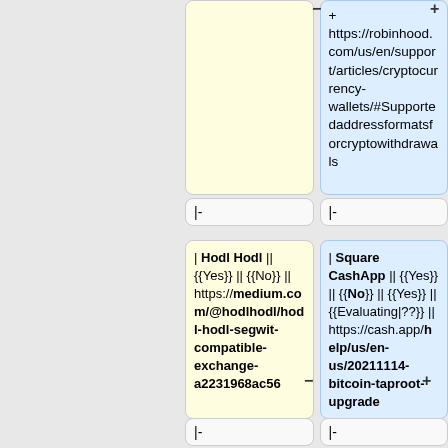|  | + https://robinhood.com/us/en/support/articles/cryptocurrency-wallets/#Supportedaddressformatsforcryptowithdrawals |
| |- | |- |
| | Hodl Hodl || {{Yes}} || {{No}} || https://medium.com/@hodlhodl/hodl-hodl-segwit-compatible-exchange-a2231968ac56 | | Square CashApp || {{Yes}} || {{No}} || {{Yes}} || {{Evaluating|??}} || https://cash.app/help/us/en-us/20211114-bitcoin-taproot-upgrade |
| |- | |- |